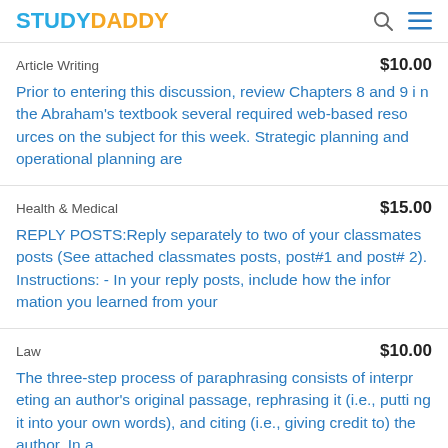STUDYDADDY
Article Writing
Prior to entering this discussion, review Chapters 8 and 9 in the Abraham's textbook several required web-based resources on the subject for this week. Strategic planning and operational planning are
Health & Medical
REPLY POSTS:Reply separately to two of your classmates posts (See attached classmates posts, post#1 and post#2). Instructions: - In your reply posts, include how the information you learned from your
Law
The three-step process of paraphrasing consists of interpreting an author's original passage, rephrasing it (i.e., putting it into your own words), and citing (i.e., giving credit to) the author. In a